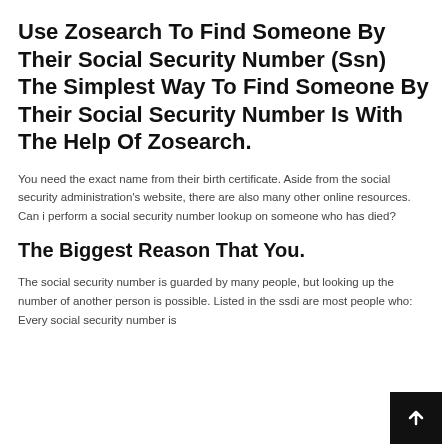Use Zosearch To Find Someone By Their Social Security Number (Ssn) The Simplest Way To Find Someone By Their Social Security Number Is With The Help Of Zosearch.
You need the exact name from their birth certificate. Aside from the social security administration's website, there are also many other online resources. Can i perform a social security number lookup on someone who has died?
The Biggest Reason That You.
The social security number is guarded by many people, but looking up the number of another person is possible. Listed in the ssdi are most people who: Every social security number is